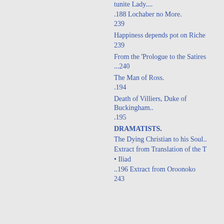tunite Lady....
.188 Lochaber no More.
239
Happiness depends pot on Riche
239
From the 'Prologue to the Satires
...240
The Man of Ross.
.194
Death of Villiers, Duke of Buckingham..
.195
DRAMATISTS.
The Dying Christian to his Soul..
Extract from Translation of the T
• Iliad
..196 Extract from Oroonoko
243